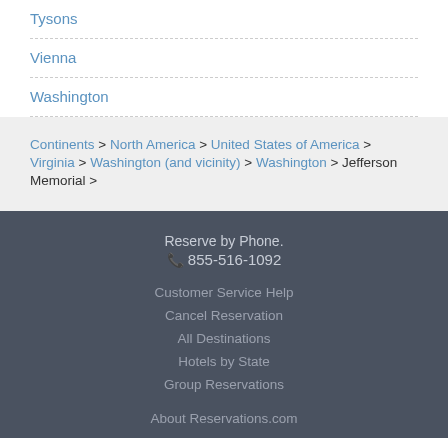Tysons
Vienna
Washington
Continents > North America > United States of America > Virginia > Washington (and vicinity) > Washington > Jefferson Memorial >
Reserve by Phone. 855-516-1092 Customer Service Help Cancel Reservation All Destinations Hotels by State Group Reservations About Reservations.com